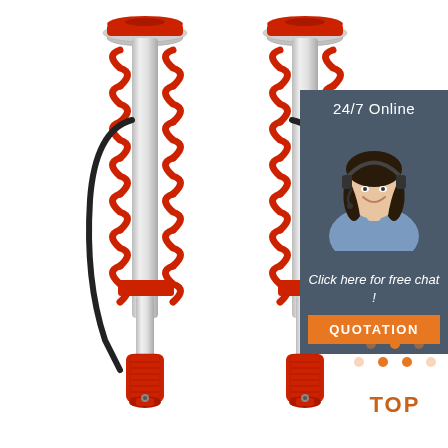[Figure (photo): Two red coilover shock absorbers with helical springs, aluminum bodies, and hydraulic hose connections on a white background]
[Figure (photo): Customer service agent sidebar panel with dark blue-gray background showing '24/7 Online' text and a smiling woman with headset, followed by 'Click here for free chat!' text and an orange QUOTATION button]
[Figure (illustration): Orange 'TOP' badge with triangular dots/chevron icon above the word TOP in bold orange letters]